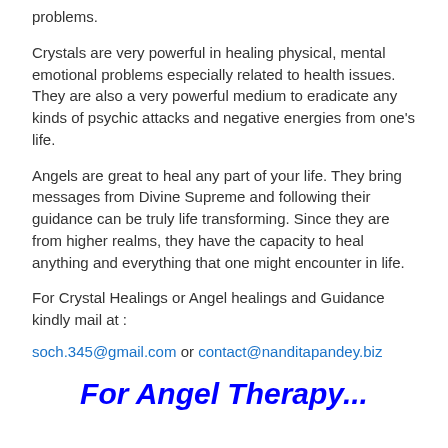problems.
Crystals are very powerful in healing physical, mental emotional problems especially related to health issues. They are also a very powerful medium to eradicate any kinds of psychic attacks and negative energies from one's life.
Angels are great to heal any part of your life. They bring messages from Divine Supreme and following their guidance can be truly life transforming. Since they are from higher realms, they have the capacity to heal anything and everything that one might encounter in life.
For Crystal Healings or Angel healings and Guidance kindly mail at :
[Figure (illustration): Purple upward-pointing arrow icon in the top-right area near the mail text]
soch.345@gmail.com or contact@nanditapandey.biz
For Angel Therapy...